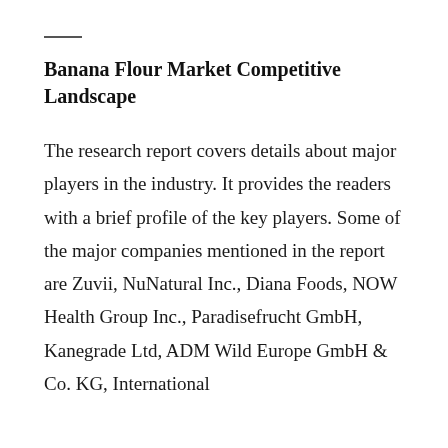Banana Flour Market Competitive Landscape
The research report covers details about major players in the industry. It provides the readers with a brief profile of the key players. Some of the major companies mentioned in the report are Zuvii, NuNatural Inc., Diana Foods, NOW Health Group Inc., Paradisefrucht GmbH, Kanegrade Ltd, ADM Wild Europe GmbH & Co. KG, International